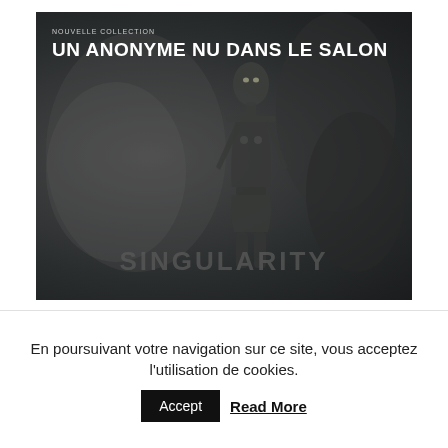[Figure (illustration): Dark moody image with a humanoid/alien figure standing in a dark background. Top-left shows 'NOUVELLE COLLECTION' label and 'UN ANONYME NU DANS LE SALON' title in white. Large 'SINGULARITY' text in grey at the bottom of the image.]
En poursuivant votre navigation sur ce site, vous acceptez l'utilisation de cookies.
Accept
Read More